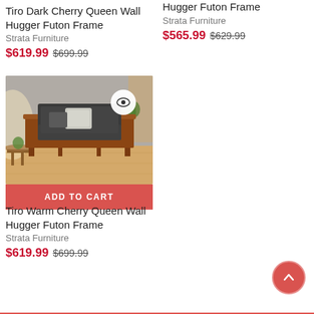Tiro Dark Cherry Queen Wall Hugger Futon Frame
Strata Furniture
$619.99  $699.99
Hugger Futon Frame
Strata Furniture
$565.99  $629.99
[Figure (photo): Tiro Warm Cherry Queen Wall Hugger Futon Frame sofa with dark cushions and warm cherry wood frame on light wood floor, with a quick-view eye icon button overlay]
ADD TO CART
Tiro Warm Cherry Queen Wall Hugger Futon Frame
Strata Furniture
$619.99  $699.99